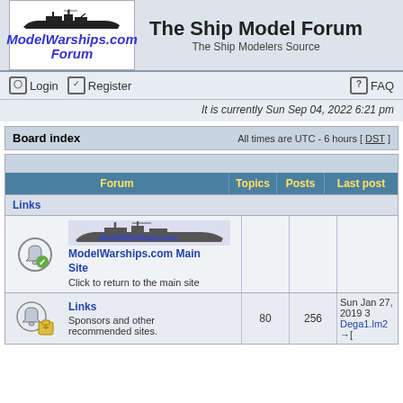[Figure (logo): ModelWarships.com Forum logo with warship silhouette and italic blue text]
The Ship Model Forum
The Ship Modelers Source
Login   Register   FAQ
It is currently Sun Sep 04, 2022 6:21 pm
| Forum | Topics | Posts | Last post |
| --- | --- | --- | --- |
| Links |  |  |  |
| ModelWarships.com Main Site
Click to return to the main site |  |  |  |
| Links
Sponsors and other recommended sites. | 80 | 256 | Sun Jan 27, 2019 3...
Dega1.lm2 →[ |